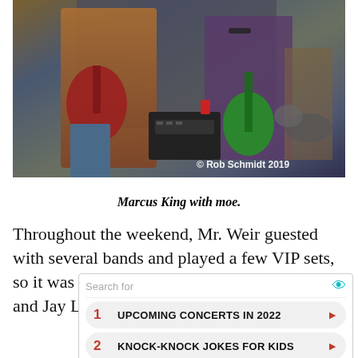[Figure (photo): Concert photo of musicians playing guitars on stage, with amplifiers in background. Copyright watermark reads '© Rob Schmidt 2019'.]
Marcus King with moe.
Throughout the weekend, Mr. Weir guested with several bands and played a few VIP sets, so it was fitting for him along with Don Was and Jay Lane to close out the festival as, Bob
[Figure (screenshot): Search ad widget showing 'Search for' label with eye icon, and two results: 1. UPCOMING CONCERTS IN 2022, 2. KNOCK-KNOCK JOKES FOR KIDS, each with a red arrow button.]